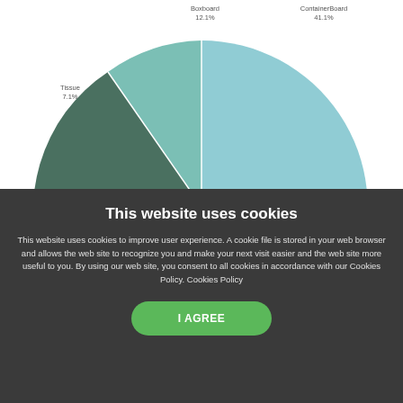[Figure (pie-chart): Pie chart showing product segments]
This website uses cookies
This website uses cookies to improve user experience. A cookie file is stored in your web browser and allows the web site to recognize you and make your next visit easier and the web site more useful to you. By using our web site, you consent to all cookies in accordance with our Cookies Policy. Cookies Policy